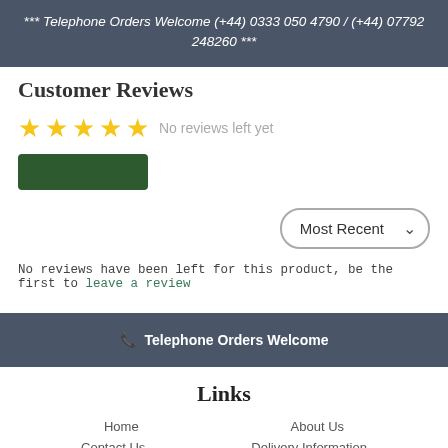*** Telephone Orders Welcome (+44) 0333 050 4790 / (+44) 07792 248260 ***
Customer Reviews
No reviews left yet
No reviews have been left for this product, be the first to leave a review
Most Recent
Telephone Orders Welcome
Links
Home
About Us
Contact Us
Delivery Information